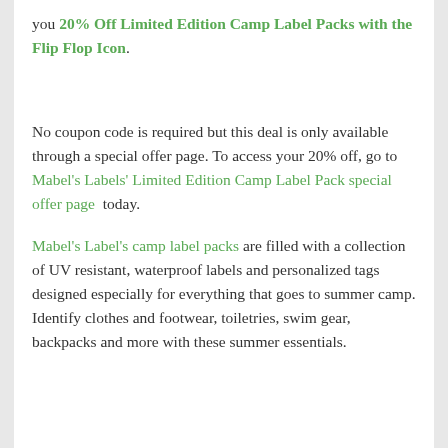you 20% Off Limited Edition Camp Label Packs with the Flip Flop Icon. No coupon code is required but this deal is only available through a special offer page. To access your 20% off, go to Mabel's Labels' Limited Edition Camp Label Pack special offer page today. Mabel's Label's camp label packs are filled with a collection of UV resistant, waterproof labels and personalized tags designed especially for everything that goes to summer camp. Identify clothes and footwear, toiletries, swim gear, backpacks and more with these summer essentials.